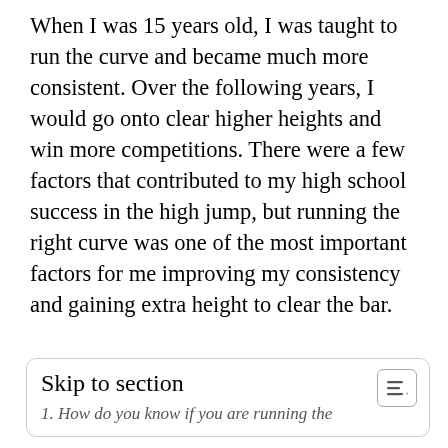When I was 15 years old, I was taught to run the curve and became much more consistent. Over the following years, I would go onto clear higher heights and win more competitions. There were a few factors that contributed to my high school success in the high jump, but running the right curve was one of the most important factors for me improving my consistency and gaining extra height to clear the bar.
Skip to section
1. How do you know if you are running the